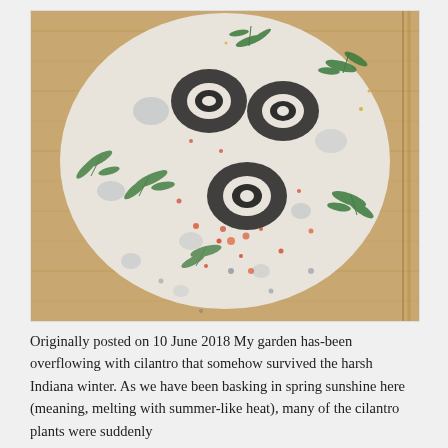[Figure (photo): Top-down photo of a round white cheese wheel on a wooden bamboo board, decorated with black olive rings, fresh dill/herb sprigs, and orange-red spice (paprika or chili flakes) sprinkled on top.]
Originally posted on 10 June 2018 My garden has-been overflowing with cilantro that somehow survived the harsh Indiana winter. As we have been basking in spring sunshine here (meaning, melting with summer-like heat), many of the cilantro plants were suddenly